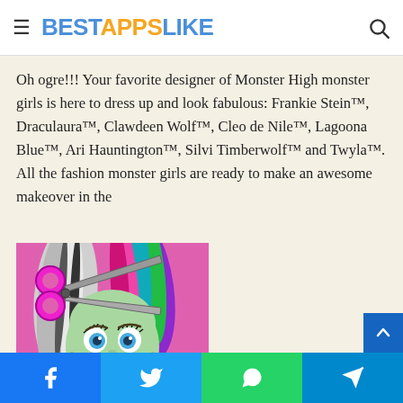BESTAPPSLIKE
Oh ogre!!! Your favorite designer of Monster High monster girls is here to dress up and look fabulous: Frankie Stein™, Draculaura™, Clawdeen Wolf™, Cleo de Nile™, Lagoona Blue™, Ari Hauntington™, Silvi Timberwolf™ and Twyla™. All the fashion monster girls are ready to make an awesome makeover in the
[Figure (illustration): Cartoon illustration of a Monster High character (Frankie Stein) with rainbow multicolored hair being cut by large pink scissors. The character has green skin, blue eyes, and gold earrings. Background is pink/magenta.]
Facebook | Twitter | WhatsApp | Telegram social share bar